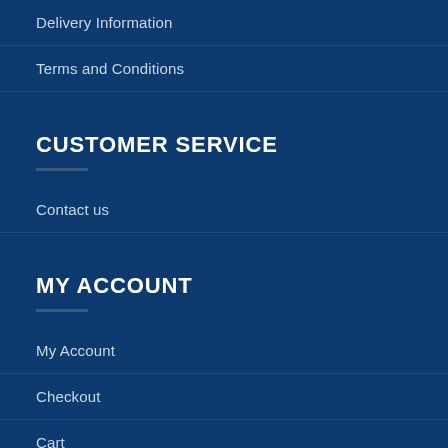Delivery Information
Terms and Conditions
CUSTOMER SERVICE
Contact us
MY ACCOUNT
My Account
Checkout
Cart
Contact